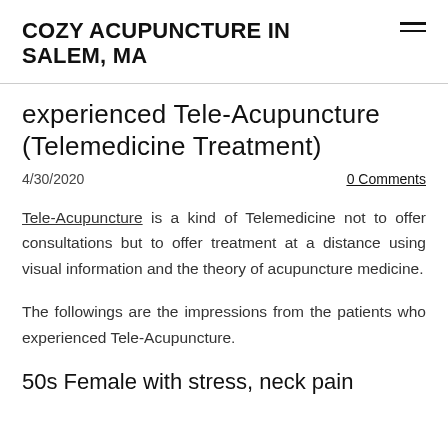COZY ACUPUNCTURE IN SALEM, MA
experienced Tele-Acupuncture (Telemedicine Treatment)
4/30/2020
0 Comments
Tele-Acupuncture is a kind of Telemedicine not to offer consultations but to offer treatment at a distance using visual information and the theory of acupuncture medicine.
The followings are the impressions from the patients who experienced Tele-Acupuncture.
50s Female with stress, neck pain